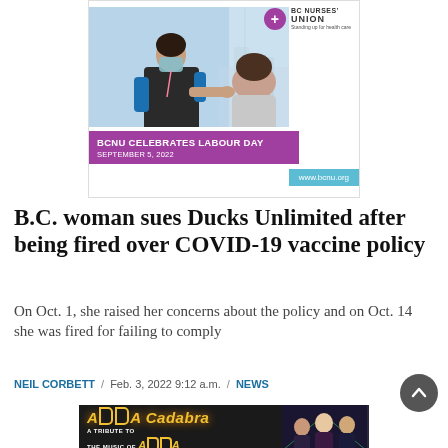[Figure (photo): BC Nurses Union advertisement banner showing a nurse in a mask attending to a patient, with the BCNU logo, purple bar reading 'BCNU CELEBRATES LABOUR DAY SEPTEMBER 5, 2022' and teal URL bar 'www.bcnu.org']
B.C. woman sues Ducks Unlimited after being fired over COVID-19 vaccine policy
On Oct. 1, she raised her concerns about the policy and on Oct. 14 she was fired for failing to comply
NEIL CORBETT / Feb. 3, 2022 9:12 a.m. / NEWS
[Figure (photo): ABBA Cadabra tribute band advertisement banner with dark background and performers]